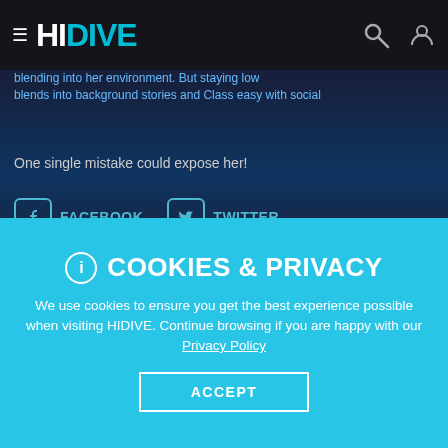HIDIVE
One single mistake could expose her!
FACEBOOK  TWITTER
SEASON 1 | 26 EPISODES
[Figure (screenshot): Two anime episode thumbnails side by side. Left shows a blonde-haired character. Right shows a dark-haired character with 'NOW PLAYING' badge and cyan border.]
COOKIES & PRIVACY
We use cookies to ensure you get the best experience possible when visiting HIDIVE. Continue browsing if you are happy with our Privacy Policy
ACCEPT